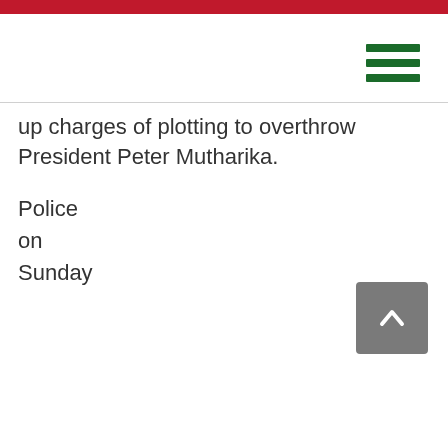up charges of plotting to overthrow President Peter Mutharika.
Police
on
Sunday